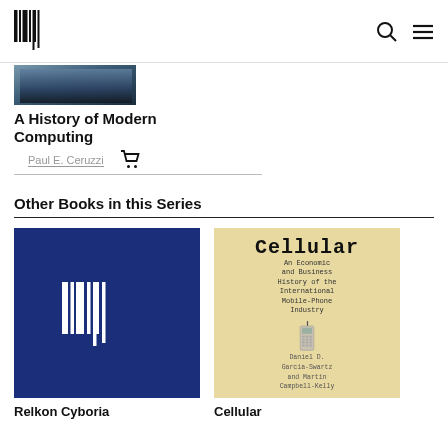MIT Press logo, search icon, menu icon
[Figure (photo): Partial book cover image of A History of Modern Computing — dark toned cover with historical computing imagery]
A History of Modern Computing
Paul E. Ceruzzi
Other Books in this Series
[Figure (illustration): Book cover: dark blue background with white MIT Press barcode/logo graphic — placeholder for a book in the series]
[Figure (illustration): Book cover: Cellular — An Economic and Business History of the International Mobile-Phone Industry by Daniel D. Garcia-Swartz and Martin Campbell-Kelly. Beige/tan cover with image of a vintage mobile phone.]
Relkon Cyboria
Cellular